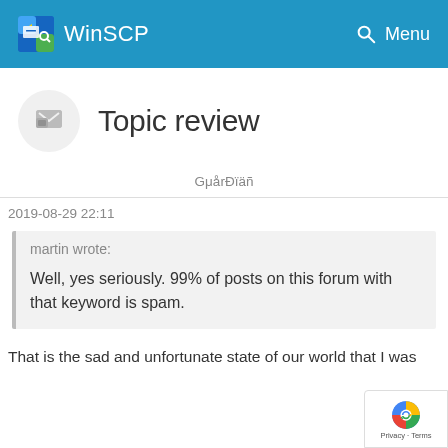WinSCP   Menu
Topic review
GμårÐïäñ
2019-08-29 22:11
martin wrote:

Well, yes seriously. 99% of posts on this forum with that keyword is spam.
That is the sad and unfortunate state of our world that I was